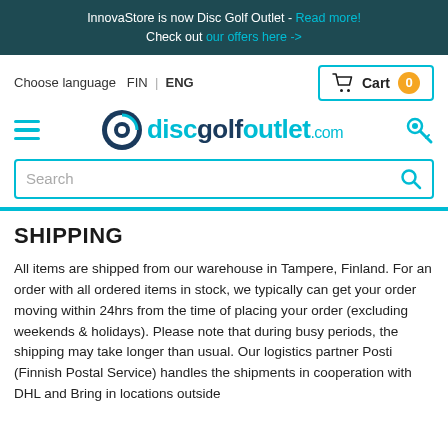InnovaStore is now Disc Golf Outlet - Read more! Check out our offers here ->
Choose language  FIN | ENG
Cart  0
[Figure (logo): discgolfoutlet.com logo with disc golf icon, hamburger menu and key icon]
Search
SHIPPING
All items are shipped from our warehouse in Tampere, Finland. For an order with all ordered items in stock, we typically can get your order moving within 24hrs from the time of placing your order (excluding weekends & holidays). Please note that during busy periods, the shipping may take longer than usual. Our logistics partner Posti (Finnish Postal Service) handles the shipments in cooperation with DHL and Bring in locations outside